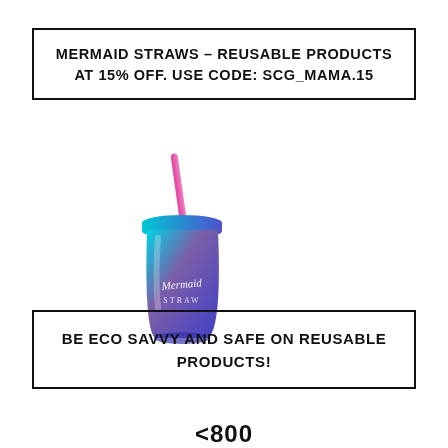MERMAID STRAWS - REUSABLE PRODUCTS AT 15% OFF. USE CODE: SCG_MAMA.15
[Figure (photo): A colorful iridescent mermaid straw tumbler cup with a pink straw, featuring blue-purple gradient and cursive 'Mermaid Straw' branding]
BE ECO SAVVY AND SAFE ON REUSABLE PRODUCTS!
<800